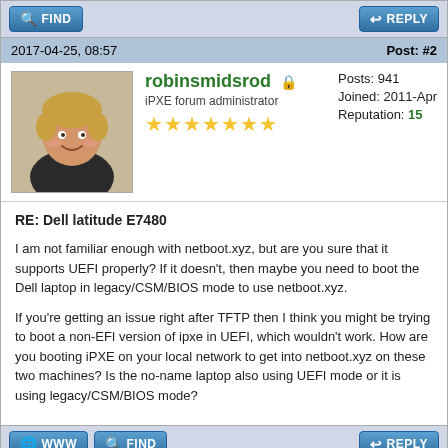[Figure (other): FIND and REPLY buttons in top navigation bar]
2017-04-25, 08:57   Post: #2
[Figure (photo): Avatar photo of robinsmidsrod, a smiling man with blonde hair]
robinsmidsrod
iPXE forum administrator
Posts: 941
Joined: 2011-Apr
Reputation: 15
RE: Dell latitude E7480
I am not familiar enough with netboot.xyz, but are you sure that it supports UEFI properly? If it doesn't, then maybe you need to boot the Dell laptop in legacy/CSM/BIOS mode to use netboot.xyz.

If you're getting an issue right after TFTP then I think you might be trying to boot a non-EFI version of ipxe in UEFI, which wouldn't work. How are you booting iPXE on your local network to get into netboot.xyz on these two machines? Is the no-name laptop also using UEFI mode or it is using legacy/CSM/BIOS mode?
[Figure (other): WWW, FIND, and REPLY buttons in bottom action bar]
« Next Oldest |
Enter Keywords  Search Thread